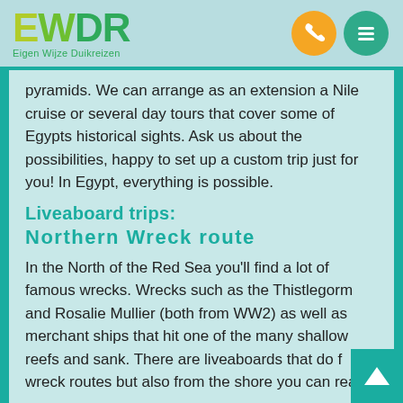[Figure (logo): EWDR logo with green/yellow letters and 'Eigen Wijze Duikreizen' subtitle, plus phone and menu icons]
pyramids. We can arrange as an extension a Nile cruise or several day tours that cover some of Egypts historical sights. Ask us about the possibilities, happy to set up a custom trip just for you! In Egypt, everything is possible.
Liveaboard trips:
Northern Wreck route
In the North of the Red Sea you'll find a lot of famous wrecks. Wrecks such as the Thistlegorm and Rosalie Mullier (both from WW2) as well as merchant ships that hit one of the many shallow reefs and sank. There are liveaboards that do full wreck routes but also from the shore you can reach